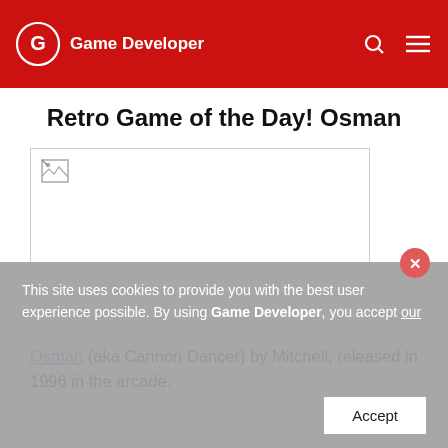Game Developer
Retro Game of the Day! Osman
[Figure (photo): Broken image placeholder for Osman (aka Cannon Dancer) arcade game screenshot]
Osman (aka Cannon Dancer) by Mitchell, released in 1996 in the arcade.
This site uses cookies to provide you with the best user experience possible. By using Game Developer, you accept our
Accept